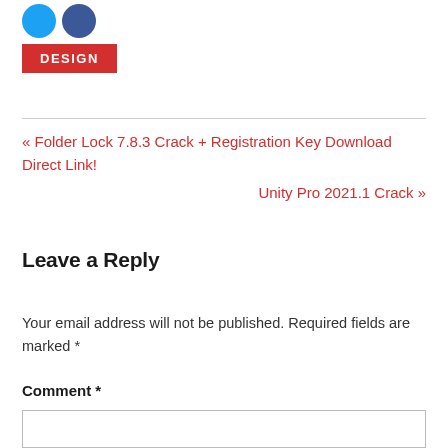[Figure (other): Two social media icon circles (light blue and dark blue)]
DESIGN
« Folder Lock 7.8.3 Crack + Registration Key Download Direct Link!
Unity Pro 2021.1 Crack »
Leave a Reply
Your email address will not be published. Required fields are marked *
Comment *